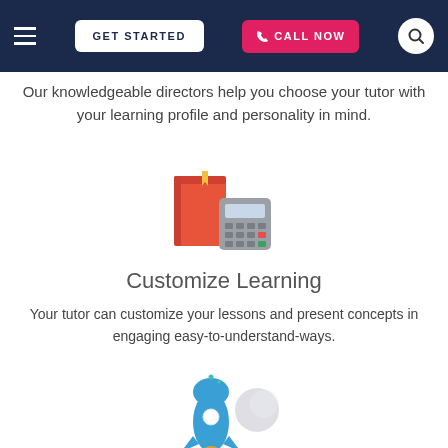GET STARTED | CALL NOW
Our knowledgeable directors help you choose your tutor with your learning profile and personality in mind.
[Figure (illustration): Icon of an orange book with a yellow bookmark and a grey calculator beside it, representing customized learning tools.]
Customize Learning
Your tutor can customize your lessons and present concepts in engaging easy-to-understand-ways.
[Figure (illustration): Icon of a blue and white rocket with orange flames at the bottom and a grey planet/moon, partially visible at the bottom of the page.]